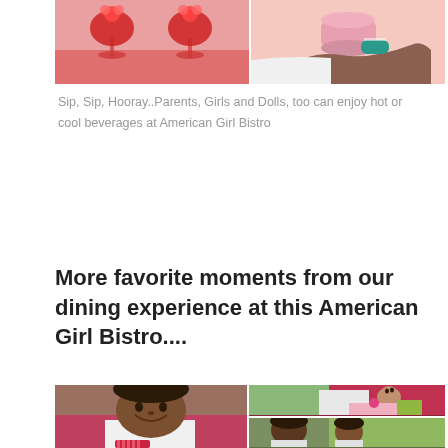[Figure (photo): Two side-by-side photos at top: left shows red cocktails/beverages in stemmed glasses with floral decoration on pink background; right shows a child's hand holding a pink cylindrical object with a teal bracelet]
Sip, Sip, Hooray..Parents, Girls and Dolls, too can enjoy hot or cool beverages at American Girl Bistro
More favorite moments from our dining experience at this American Girl Bistro....
[Figure (photo): Collage of three photos: left large photo shows a young Black girl smiling at the restaurant; top right shows a doll looking up at the table setting with pink napkin and menu; bottom right shows an adult and child at the restaurant with green trees visible through window]